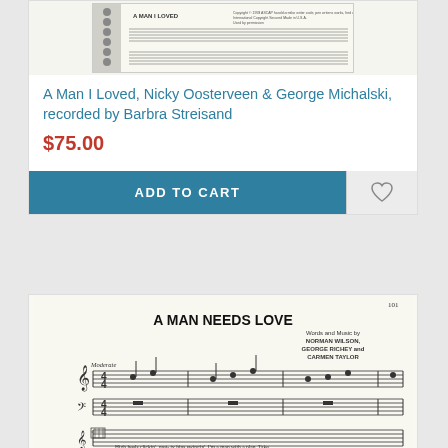[Figure (photo): Thumbnail image of sheet music for 'A Man I Loved']
A Man I Loved, Nicky Oosterveen & George Michalski, recorded by Barbra Streisand
$75.00
ADD TO CART
[Figure (photo): Preview of sheet music page titled 'A MAN NEEDS LOVE', Words and Music by NORMAN WILSON, GEORGE RICHEY and CARMEN TAYLOR. Shows musical notation with treble and bass clef staves, Moderate tempo marking, and lyrics beginning 'High heels clickin', pretty hips swingin', I'm a man with a plan. Take...']